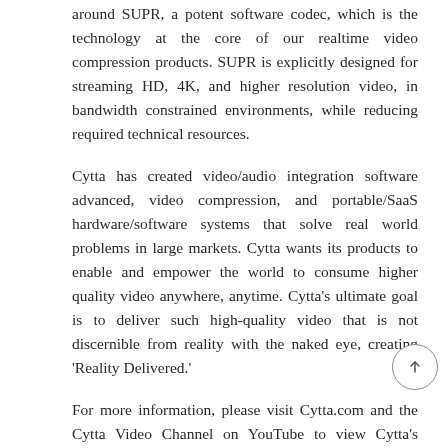around SUPR, a potent software codec, which is the technology at the core of our realtime video compression products. SUPR is explicitly designed for streaming HD, 4K, and higher resolution video, in bandwidth constrained environments, while reducing required technical resources.
Cytta has created video/audio integration software advanced, video compression, and portable/SaaS hardware/software systems that solve real world problems in large markets. Cytta wants its products to enable and empower the world to consume higher quality video anywhere, anytime. Cytta's ultimate goal is to deliver such high-quality video that is not discernible from reality with the naked eye, creating 'Reality Delivered.'
For more information, please visit Cytta.com and the Cytta Video Channel on YouTube to view Cytta's vision, products, competitive advantages, marketplace, new product utilization, and markets.